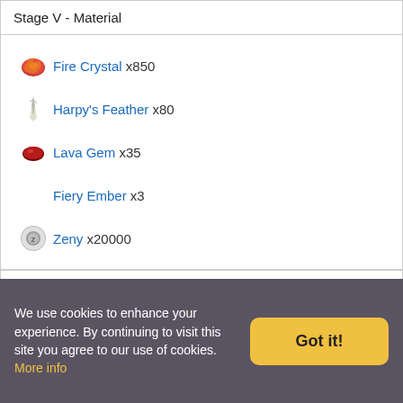Stage V - Material
Fire Crystal x850
Harpy's Feather x80
Lava Gem x35
Fiery Ember x3
Zeny x20000
Stage VI - Material
Black Veil x900
Hypnotic Log x90
Wraith Dust x40
We use cookies to enhance your experience. By continuing to visit this site you agree to our use of cookies. More info